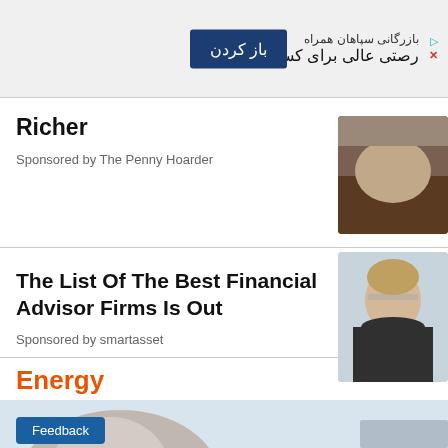[Figure (screenshot): Advertisement banner with Persian text and blue button labeled 'باز کردن']
Richer
Sponsored by The Penny Hoarder
[Figure (photo): Photo of crumpled paper or cloth]
The List Of The Best Financial Advisor Firms Is Out
Sponsored by smartasset
[Figure (photo): Photo of an older man with glasses]
Energy
[Figure (photo): Bottom photo showing person with gray/blonde hair, partial view, with Feedback button overlay]